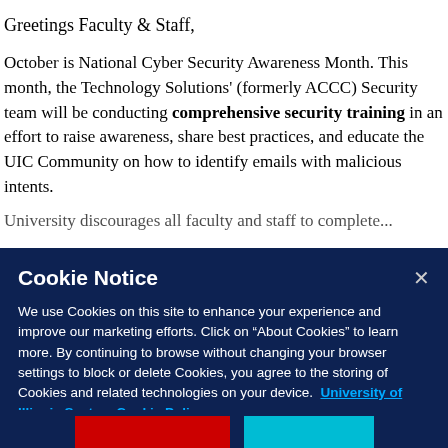Greetings Faculty & Staff,
October is National Cyber Security Awareness Month. This month, the Technology Solutions' (formerly ACCC) Security team will be conducting comprehensive security training in an effort to raise awareness, share best practices, and educate the UIC Community on how to identify emails with malicious intents.
University discourages all faculty and staff to...
Cookie Notice
We use Cookies on this site to enhance your experience and improve our marketing efforts. Click on “About Cookies” to learn more. By continuing to browse without changing your browser settings to block or delete Cookies, you agree to the storing of Cookies and related technologies on your device.  University of Illinois System Cookie Policy.